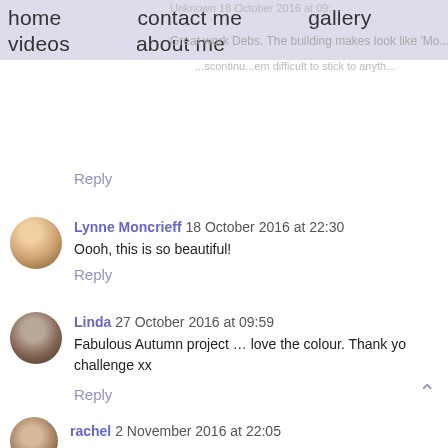home | contact me | gallery | videos | about me
Reply
Lynne Moncrieff 18 October 2016 at 22:30
Oooh, this is so beautiful!
Reply
Linda 27 October 2016 at 09:59
Fabulous Autumn project … love the colour. Thank you for the challenge xx
Reply
rachel 2 November 2016 at 22:05